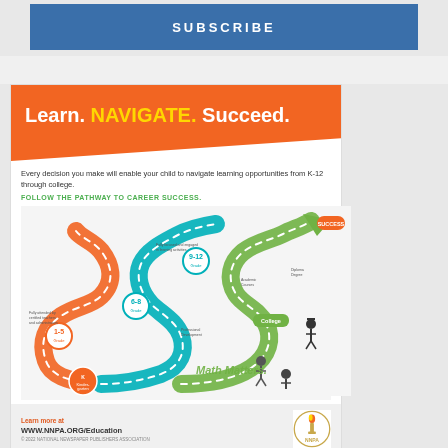SUBSCRIBE
[Figure (infographic): NNPA Education infographic advertisement. Orange diagonal header with text 'Learn. NAVIGATE. Succeed.' followed by tagline about K-12 through college pathways, green text 'FOLLOW THE PATHWAY TO CAREER SUCCESS.' and a winding road infographic showing educational stages from Kindergarten through 9-12 to College to career Success, with Math Matters branding. Footer shows 'Learn more at WWW.NNPA.ORG/Education' with NNPA torch logo.]